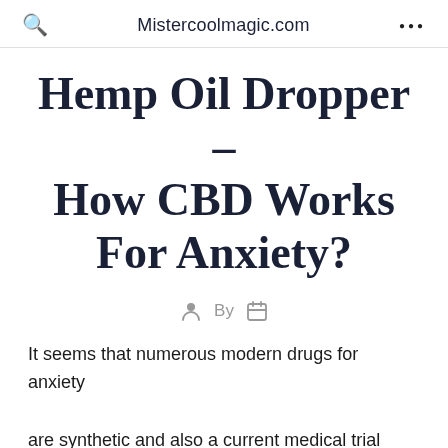Q  Mistercoolmagic.com  ...
Hemp Oil Dropper – How CBD Works For Anxiety?
By
It seems that numerous modern drugs for anxiety are synthetic and also a current medical trial showed that individuals taking these medications